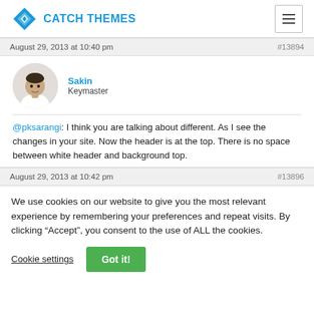CATCH THEMES
August 29, 2013 at 10:40 pm  #13894
Sakin
Keymaster
@pksarangi: I think you are talking about different. As I see the changes in your site. Now the header is at the top. There is no space between white header and background top.
August 29, 2013 at 10:42 pm  #13896
We use cookies on our website to give you the most relevant experience by remembering your preferences and repeat visits. By clicking “Accept”, you consent to the use of ALL the cookies.
Cookie settings  Got it!